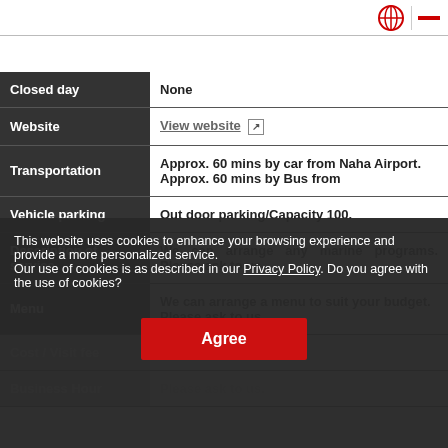| Field | Value |
| --- | --- |
| Closed day | None |
| Website | View website ↗ |
| Transportation | Approx. 60 mins by car from Naha Airport. Approx. 60 mins by Bus from |
| Vehicle parking | Out door parking/Capacity 100. |
| Description of service | We can arrange any marine programs. Please ask to us. |
| Menu | We can arrange a menu to suit your budget. Please ask to us. |
| Cost / Visit fee | Please ask to us. |
| Business Hour | Please ask to us. |
This website uses cookies to enhance your browsing experience and provide a more personalized service.
Our use of cookies is as described in our Privacy Policy. Do you agree with the use of cookies?